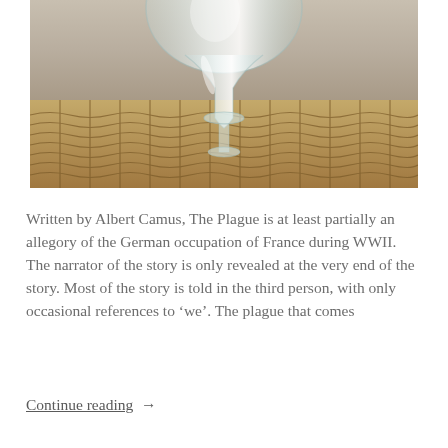[Figure (photo): A clear glass vase or vessel sitting on a woven mat/placemat with dark pattern stitching. The background shows a beige/tan wall. The glass is transparent and has a wide round top narrowing to a base.]
Written by Albert Camus, The Plague is at least partially an allegory of the German occupation of France during WWII. The narrator of the story is only revealed at the very end of the story. Most of the story is told in the third person, with only occasional references to 'we'. The plague that comes
Continue reading  →